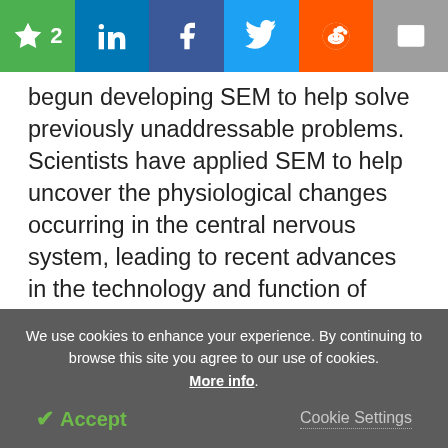Social sharing bar with bookmark (2), LinkedIn, Facebook, Twitter, Reddit, Email
begun developing SEM to help solve previously unaddressable problems. Scientists have applied SEM to help uncover the physiological changes occurring in the central nervous system, leading to recent advances in the technology and function of SEMs, such as the establishment of serial block-face SEM (SBEM) which is used to image blocks of ultra-thin tissue removed using an ultramicrotome that is then incorporated into the electron microscope.
We use cookies to enhance your experience. By continuing to browse this site you agree to our use of cookies. More info.
✔ Accept   Cookie Settings